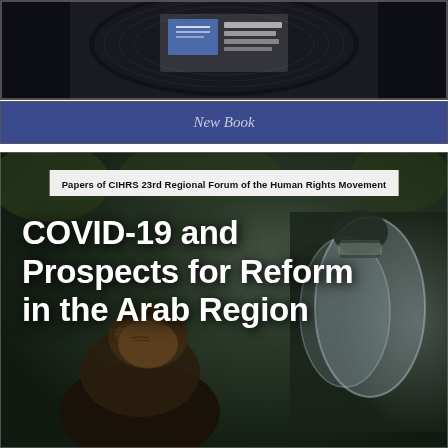[Figure (photo): Top portion of a book or publication with a dark background and an organizational logo/emblem (CIHRS) with Arabic and French text, set against a dark circular/disc shape]
New Book
[Figure (photo): Book cover image showing protest scene with people and riot police with shields, dark atmospheric photo. Overlaid text: 'Papers of CIHRS 23rd Regional Forum of the Human Rights Movement' and title 'COVID-19 and Prospects for Reform in the Arab Region']
Papers of CIHRS 23rd Regional Forum of the Human Rights Movement
COVID-19 and Prospects for Reform in the Arab Region